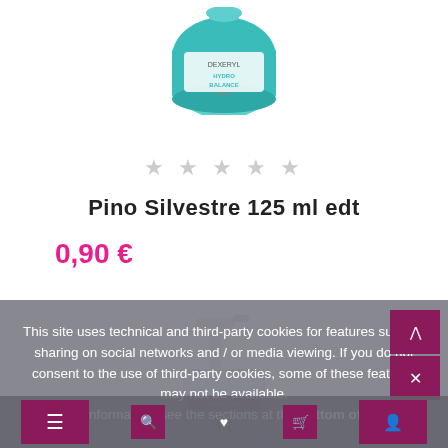[Figure (photo): Teal/turquoise round cosmetic bottle (Dexeryl or similar moisturizer) partially visible at top of page]
★ ★ ★ ★ ★
Pino Silvestre 125 ml edt
0,90 €
[Figure (photo): Clear pump-dispenser liquid soap bottle with colorful label, partially visible]
This site uses technical and third-party cookies for features such as sharing on social networks and / or media viewing. If you do not consent to the use of third-party cookies, some of these features may not be available.
For more information, see the sections at the bottom of the page